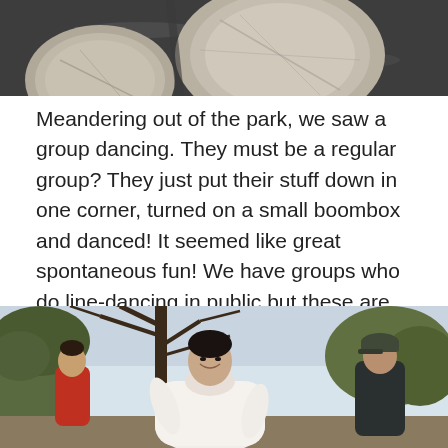[Figure (photo): Close-up photo of stone or concrete circular shapes on a dark ground surface, partially visible at top of page]
Meandering out of the park, we saw a group dancing. They must be a regular group? They just put their stuff down in one corner, turned on a small boombox and danced! It seemed like great spontaneous fun! We have groups who do line-dancing in public but these are often larger, organised groups whereas these guys look like they're friends who enjoy dancing and just want to do it in a park!
[Figure (photo): Photo of people dancing outdoors in a park. A woman in a white jacket is prominent in the foreground, smiling. A man in dark clothing and cap stands in the background. Trees with bare branches are visible.]